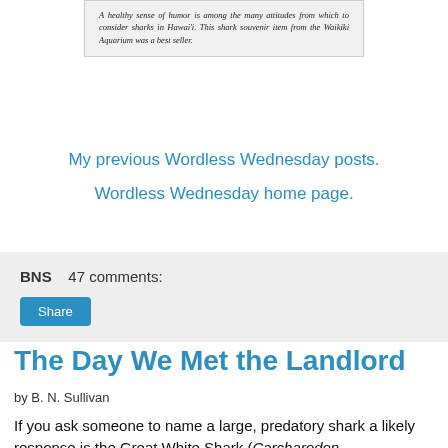A healthy sense of humor is among the many attitudes from which to consider sharks in Hawai'i. This shark souvenir item from the Waikiki Aquarium was a best seller.
My previous Wordless Wednesday posts.
Wordless Wednesday home page.
BNS   47 comments:
Share
The Day We Met the Landlord
by B. N. Sullivan
If you ask someone to name a large, predatory shark a likely response is the Great White Shark (Carcharodon